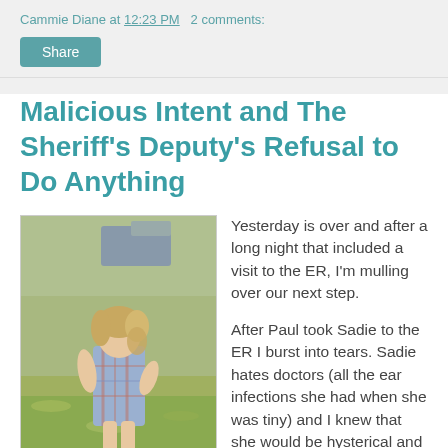Cammie Diane at 12:23 PM  2 comments:
Malicious Intent and The Sheriff's Deputy's Refusal to Do Anything
[Figure (photo): A young girl with light brown hair wearing a plaid dress, standing on a grassy area outdoors, viewed from behind.]
Yesterday is over and after a long night that included a visit to the ER, I'm mulling over our next step.

After Paul took Sadie to the ER I burst into tears. Sadie hates doctors (all the ear infections she had when she was tiny) and I knew that she would be hysterical and terrified. But taking